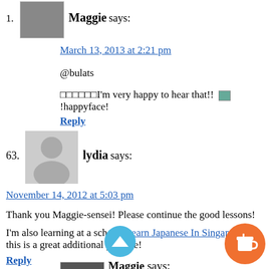1. Maggie says: March 13, 2013 at 2:21 pm
@bulats
…I’m very happy to hear that!! [happyface]
Reply
63. lydia says: November 14, 2012 at 5:03 pm
Thank you Maggie-sensei! Please continue the good lessons!
I’m also learning at a school, Learn Japanese In Singapore so this is a great additional practice!
Reply
1. Maggie says: November 14, 2012 at 6:48 pm